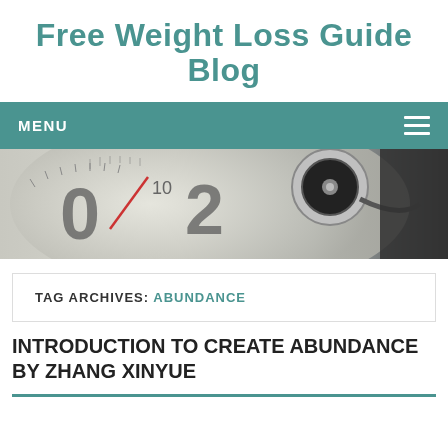Free Weight Loss Guide Blog
MENU
[Figure (photo): Close-up photo of a weight scale dial showing numbers including 0, 10, 20, and a stethoscope resting on the scale, with a red needle on the scale.]
TAG ARCHIVES: ABUNDANCE
INTRODUCTION TO CREATE ABUNDANCE BY ZHANG XINYUE